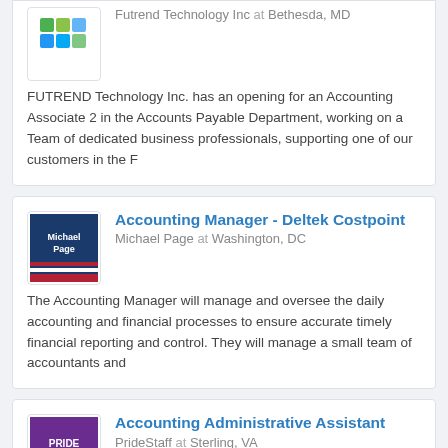Futrend Technology Inc at Bethesda, MD
FUTREND Technology Inc. has an opening for an Accounting Associate 2 in the Accounts Payable Department, working on a Team of dedicated business professionals, supporting one of our customers in the F
Accounting Manager - Deltek Costpoint
Michael Page at Washington, DC
The Accounting Manager will manage and oversee the daily accounting and financial processes to ensure accurate timely financial reporting and control. They will manage a small team of accountants and
Accounting Administrative Assistant
PrideStaff at Sterling, VA